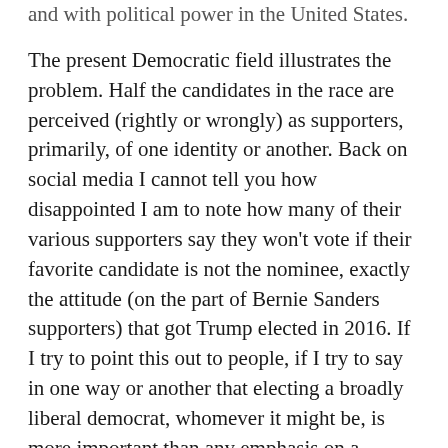and with political power in the United States.
The present Democratic field illustrates the problem. Half the candidates in the race are perceived (rightly or wrongly) as supporters, primarily, of one identity or another. Back on social media I cannot tell you how disappointed I am to note how many of their various supporters say they won’t vote if their favorite candidate is not the nominee, exactly the attitude (on the part of Bernie Sanders supporters) that got Trump elected in 2016. If I try to point this out to people, if I try to say in one way or another that electing a broadly liberal democrat, whomever it might be, is more important than any emphasis on a particular identity I am summarily rejected from the community of that particular silo.
You might think that climate change could be the…